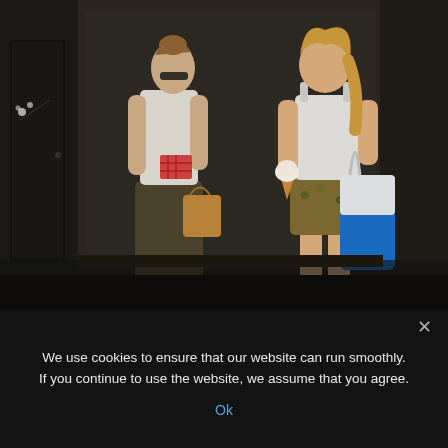[Figure (photo): Two women standing outside a shop on a sunny day. The woman on the left wears a white sleeveless top and long olive/brown skirt with a tan handbag, and sunglasses. She is looking down at something wrapped in red-checkered paper. The woman on the right wears a white top and short floral skirt with a large blue tote bag. She holds an ice cream cone. A shop window with jewelry/accessories is visible in the background.]
We use cookies to ensure that our website can run smoothly. If you continue to use the website, we assume that you agree.
Ok